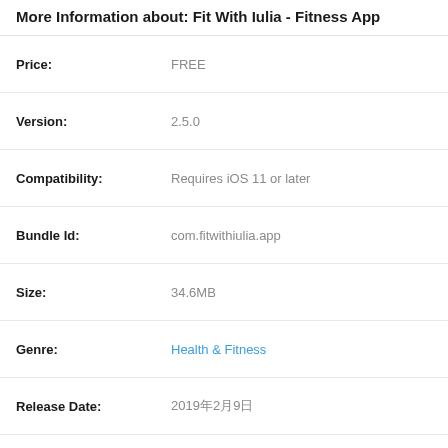More Information about: Fit With Iulia - Fitness App
| Field | Value |
| --- | --- |
| Price: | FREE |
| Version: | 2.5.0 |
| Compatibility: | Requires iOS 11 or later |
| Bundle Id: | com.fitwithiulia.app |
| Size: | 34.6MB |
| Genre: | Health & Fitness |
| Release Date: | 2019年2月9日 |
| Last Update: | 2019年2月9日 |
| Content Rating: | 4+ |
| Developer: | Iulia Danilova Fitness LLC |